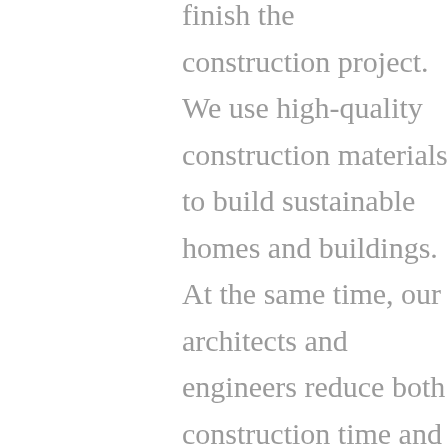finish the construction project. We use high-quality construction materials to build sustainable homes and buildings. At the same time, our architects and engineers reduce both construction time and cost by using robust architect